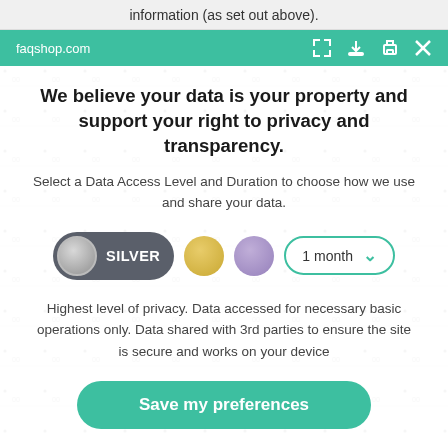information (as set out above).
faqshop.com
We believe your data is your property and support your right to privacy and transparency.
Select a Data Access Level and Duration to choose how we use and share your data.
[Figure (other): Privacy level selector with Silver (selected), Gold, and Purple circles, and a 1 month dropdown]
Highest level of privacy. Data accessed for necessary basic operations only. Data shared with 3rd parties to ensure the site is secure and works on your device
Save my preferences
Customize   Privacy policy